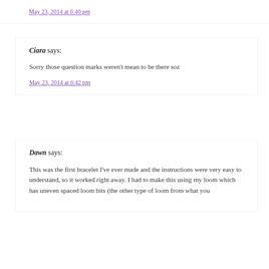May 23, 2014 at 6:40 pm
Ciara says:
Sorry those question marks weren't mean to be there soz
May 23, 2014 at 6:42 pm
Dawn says:
This was the first bracelet I've ever made and the instructions were very easy to understand, so it worked right away. I had to make this using my loom which has uneven spaced loom bits (the other type of loom from what you